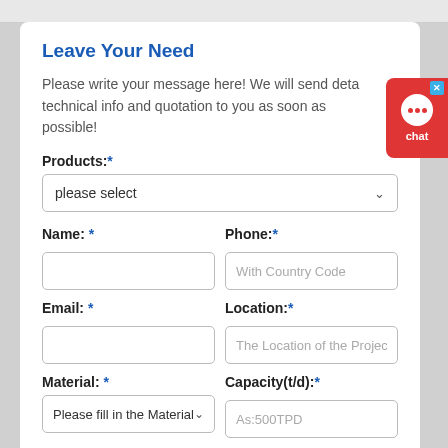Leave Your Need
Please write your message here! We will send detailed technical info and quotation to you as soon as possible!
Products:*
please select
Name: *
Phone:*
With Country Code
Email: *
Location:*
The Location of the Project
Material: *
Capacity(t/d):*
Please fill in the Material
As:500TPD